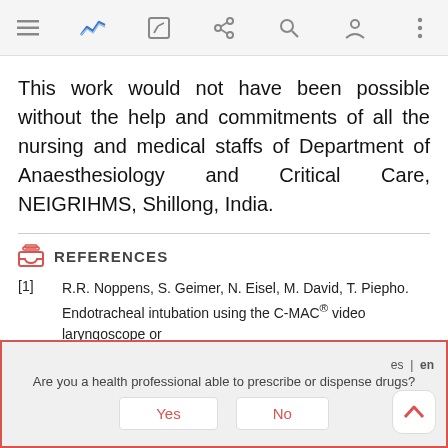[Figure (screenshot): Mobile app navigation bar with hamburger menu, logo (blue chart icon), edit icon, share icon, search icon, profile icon, and more options icon on a light grey background.]
This work would not have been possible without the help and commitments of all the nursing and medical staffs of Department of Anaesthesiology and Critical Care, NEIGRIHMS, Shillong, India.
REFERENCES
[1]   R.R. Noppens, S. Geimer, N. Eisel, M. David, T. Piepho. Endotracheal intubation using the C-MAC® video laryngoscope or
Are you a health professional able to prescribe or dispense drugs? Yes | No